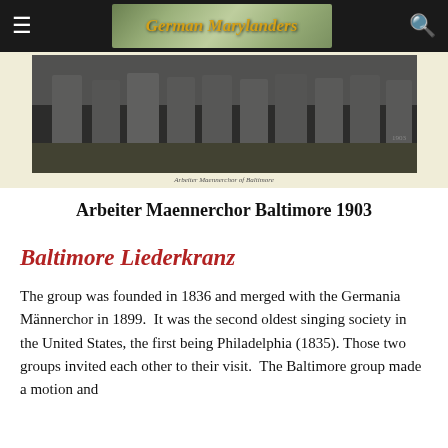German Marylanders
[Figure (photo): Historic black and white photograph of Arbeiter Maennerchor Baltimore 1903, showing a group of men standing outdoors]
Arbeiter Maennerchor Baltimore 1903
Baltimore Liederkranz
The group was founded in 1836 and merged with the Germania Männerchor in 1899.  It was the second oldest singing society in the United States, the first being Philadelphia (1835).  Those two groups invited each other to their visit.  The Baltimore group made a motion and